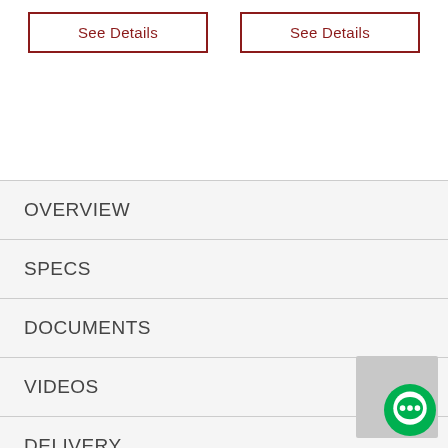See Details
See Details
OVERVIEW
SPECS
DOCUMENTS
VIDEOS
DELIVERY
WARRANTY
REVIEWS (74)